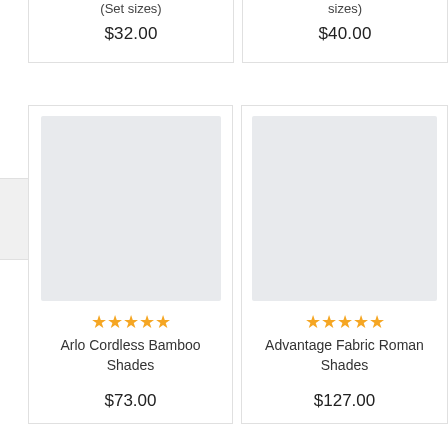(Set sizes)
$32.00
sizes)
$40.00
[Figure (photo): Product image placeholder for Arlo Cordless Bamboo Shades]
★★★★★
Arlo Cordless Bamboo Shades
$73.00
[Figure (photo): Product image placeholder for Advantage Fabric Roman Shades]
★★★★★
Advantage Fabric Roman Shades
$127.00